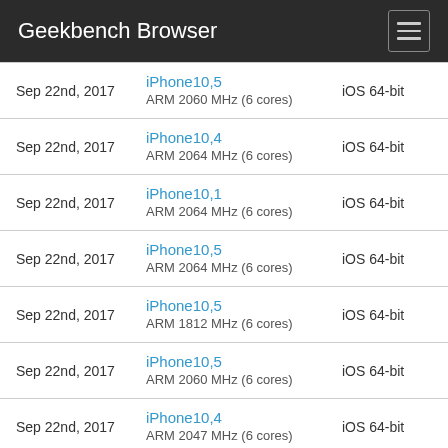Geekbench Browser
| Date | Device | OS |
| --- | --- | --- |
| Sep 22nd, 2017 | iPhone10,5
ARM 2060 MHz (6 cores) | iOS 64-bit |
| Sep 22nd, 2017 | iPhone10,4
ARM 2064 MHz (6 cores) | iOS 64-bit |
| Sep 22nd, 2017 | iPhone10,1
ARM 2064 MHz (6 cores) | iOS 64-bit |
| Sep 22nd, 2017 | iPhone10,5
ARM 2064 MHz (6 cores) | iOS 64-bit |
| Sep 22nd, 2017 | iPhone10,5
ARM 1812 MHz (6 cores) | iOS 64-bit |
| Sep 22nd, 2017 | iPhone10,5
ARM 2060 MHz (6 cores) | iOS 64-bit |
| Sep 22nd, 2017 | iPhone10,4
ARM 2047 MHz (6 cores) | iOS 64-bit |